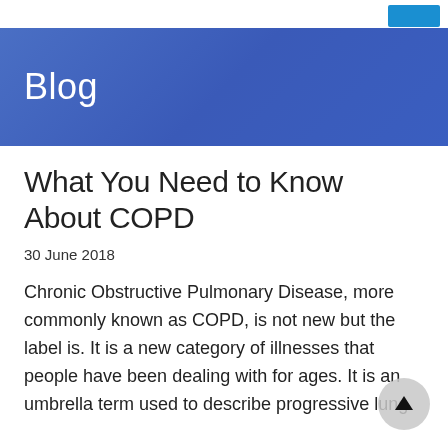Blog
What You Need to Know About COPD
30 June 2018
Chronic Obstructive Pulmonary Disease, more commonly known as COPD, is not new but the label is. It is a new category of illnesses that people have been dealing with for ages. It is an umbrella term used to describe progressive lung